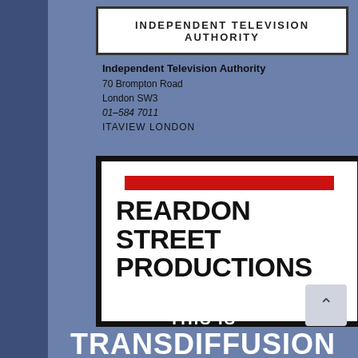[Figure (logo): Independent Television Authority logo — white box with bold text 'INDEPENDENT TELEVISION AUTHORITY']
Independent Television Authority
70 Brompton Road
London SW3
01-584 7011
ITAVIEW LONDON
[Figure (logo): Reardon Street Productions logo — white box with thick black border, red horizontal bar at top, bold black text 'REARDON STREET PRODUCTIONS']
THIS IS
TRANSDIFFUSION